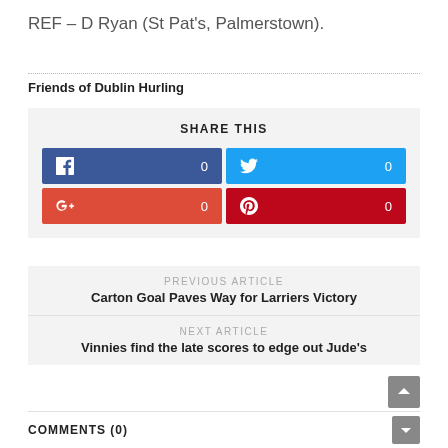REF – D Ryan (St Pat's, Palmerstown).
Friends of Dublin Hurling
[Figure (infographic): Share This social media buttons: Facebook (0), Twitter (0), Google+ (0), Pinterest (0)]
PREVIOUS ARTICLE
Carton Goal Paves Way for Larriers Victory
NEXT ARTICLE
Vinnies find the late scores to edge out Jude's
COMMENTS (0)